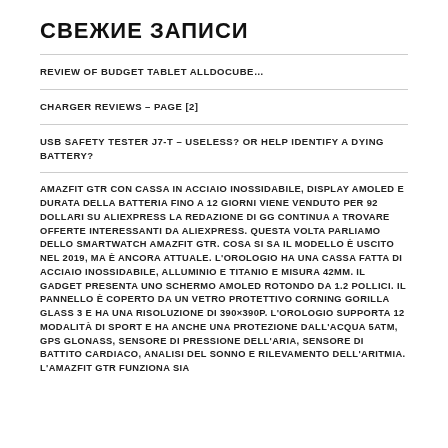СВЕЖИЕ ЗАПИСИ
REVIEW OF BUDGET TABLET ALLDOCUBE…
CHARGER REVIEWS – PAGE [2]
USB SAFETY TESTER J7-T – USELESS? OR HELP IDENTIFY A DYING BATTERY?
AMAZFIT GTR CON CASSA IN ACCIAIO INOSSIDABILE, DISPLAY AMOLED E DURATA DELLA BATTERIA FINO A 12 GIORNI VIENE VENDUTO PER 92 DOLLARI SU ALIEXPRESS LA REDAZIONE DI GG CONTINUA A TROVARE OFFERTE INTERESSANTI DA ALIEXPRESS. QUESTA VOLTA PARLIAMO DELLO SMARTWATCH AMAZFIT GTR. COSA SI SA IL MODELLO È USCITO NEL 2019, MA È ANCORA ATTUALE. L'OROLOGIO HA UNA CASSA FATTA DI ACCIAIO INOSSIDABILE, ALLUMINIO E TITANIO E MISURA 42MM. IL GADGET PRESENTA UNO SCHERMO AMOLED ROTONDO DA 1.2 POLLICI. IL PANNELLO È COPERTO DA UN VETRO PROTETTIVO CORNING GORILLA GLASS 3 E HA UNA RISOLUZIONE DI 390×390P. L'OROLOGIO SUPPORTA 12 MODALITÀ DI SPORT E HA ANCHE UNA PROTEZIONE DALL'ACQUA 5ATM, GPS GLONASS, SENSORE DI PRESSIONE DELL'ARIA, SENSORE DI BATTITO CARDIACO, ANALISI DEL SONNO E RILEVAMENTO DELL'ARITMIA. L'AMAZFIT GTR FUNZIONA SIA